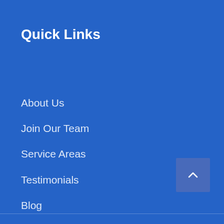Quick Links
About Us
Join Our Team
Service Areas
Testimonials
Blog
Our Work
Contacts